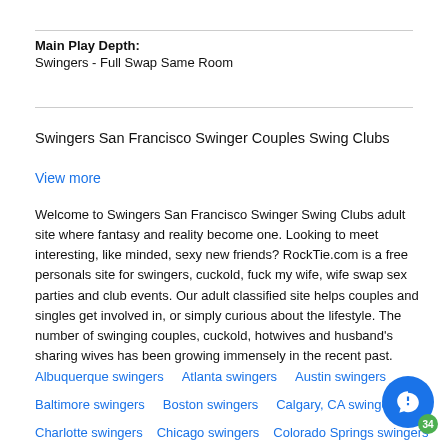Main Play Depth:
Swingers - Full Swap Same Room
Swingers San Francisco Swinger Couples Swing Clubs
View more
Welcome to Swingers San Francisco Swinger Swing Clubs adult site where fantasy and reality become one. Looking to meet interesting, like minded, sexy new friends? RockTie.com is a free personals site for swingers, cuckold, fuck my wife, wife swap sex parties and club events. Our adult classified site helps couples and singles get involved in, or simply curious about the lifestyle. The number of swinging couples, cuckold, hotwives and husband's sharing wives has been growing immensely in the recent past.
Albuquerque swingers
Atlanta swingers
Austin swingers
Baltimore swingers
Boston swingers
Calgary, CA swingers
Charlotte swingers
Chicago swingers
Colorado Springs swingers